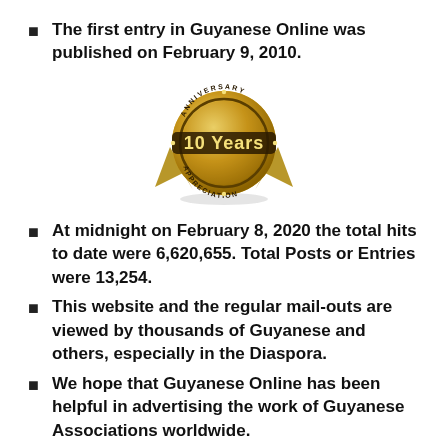The first entry in Guyanese Online was published on February 9, 2010.
[Figure (illustration): A gold anniversary badge/seal with the text '10 Years' in the center and 'ANNIVERSARY' around the top and 'APPRECIATION' around the bottom.]
At midnight on February 8, 2020 the total hits to date were 6,620,655. Total Posts or Entries were 13,254.
This website and the regular mail-outs are viewed by thousands of Guyanese and others, especially in the Diaspora.
We hope that Guyanese Online has been helpful in advertising the work of Guyanese Associations worldwide.
We also hope that you have enjoyed the news,